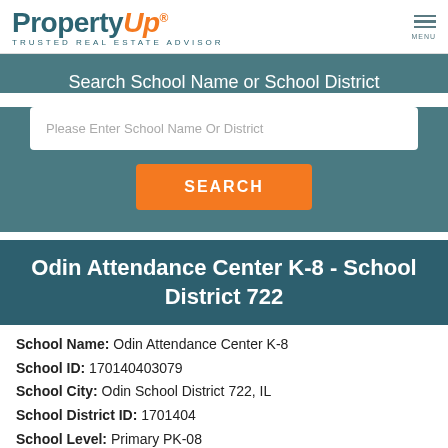[Figure (logo): PropertyUp logo with 'Property' in dark teal and 'Up' in orange italic, registered trademark symbol, with tagline 'TRUSTED REAL ESTATE ADVISOR' below]
Search School Name or School District
Please Enter School Name Or District
SEARCH
Odin Attendance Center K-8 - School District 722
School Name: Odin Attendance Center K-8
School ID: 170140403079
School City: Odin School District 722, IL
School District ID: 1701404
School Level: Primary PK-08